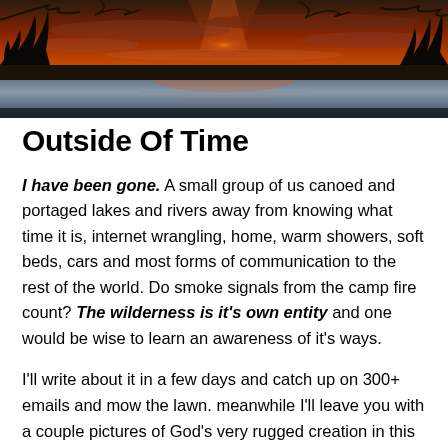[Figure (photo): Sunset or dusk landscape photo showing a dramatic sky with red/orange hues reflected over dark water or land, with silhouetted tree branches in the foreground.]
Outside Of Time
I have been gone. A small group of us canoed and portaged lakes and rivers away from knowing what time it is, internet wrangling, home, warm showers, soft beds, cars and most forms of communication to the rest of the world. Do smoke signals from the camp fire count? The wilderness is it's own entity and one would be wise to learn an awareness of it's ways.
I'll write about it in a few days and catch up on 300+ emails and mow the lawn. meanwhile I'll leave you with a couple pictures of God's very rugged creation in this area